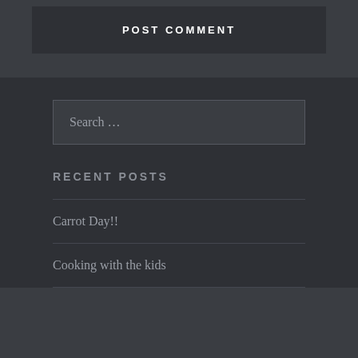POST COMMENT
Search …
RECENT POSTS
Carrot Day!!
Cooking with the kids